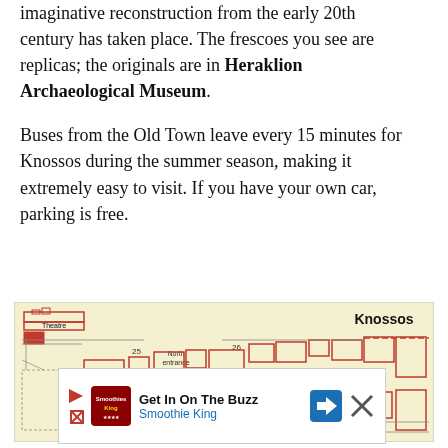imaginative reconstruction from the early 20th century has taken place. The frescoes you see are replicas; the originals are in Heraklion Archaeological Museum.
Buses from the Old Town leave every 15 minutes for Knossos during the summer season, making it extremely easy to visit. If you have your own car, parking is free.
[Figure (map): Map of Knossos archaeological site showing numbered rooms and areas, with labels for Theatre, North entrance, and numbered locations 1, 21-31. Red outlines on cream/yellow background. Watermark: www.PlanetaGuia.com]
[Figure (screenshot): Advertisement banner for Smoothie King: 'Get In On The Buzz' with Smoothie King logo, navigation arrow icon, and close button.]